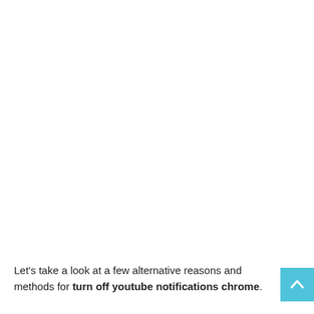Let's take a look at a few alternative reasons and methods for turn off youtube notifications chrome.